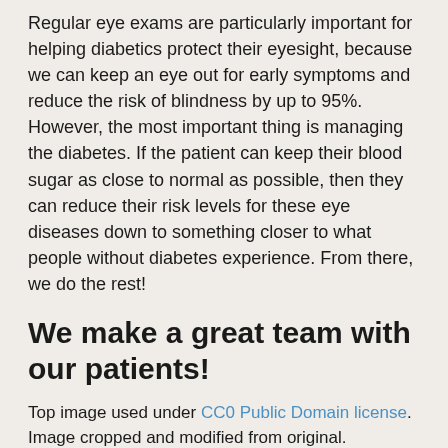Regular eye exams are particularly important for helping diabetics protect their eyesight, because we can keep an eye out for early symptoms and reduce the risk of blindness by up to 95%. However, the most important thing is managing the diabetes. If the patient can keep their blood sugar as close to normal as possible, then they can reduce their risk levels for these eye diseases down to something closer to what people without diabetes experience. From there, we do the rest!
We make a great team with our patients!
Top image used under CC0 Public Domain license. Image cropped and modified from original.
The content on this blog is not intended to be a substitute for professional medical advice, diagnosis, or treatment. Always seek the advice of qualified